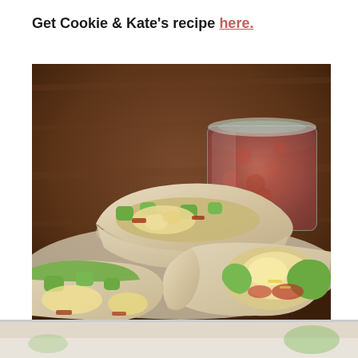Get Cookie & Kate's recipe here.
[Figure (photo): Food photograph showing breakfast burritos cut in half, filled with scrambled eggs, avocado chunks, bacon and cheese, with a glass jar of salsa in the background, all on a wooden surface.]